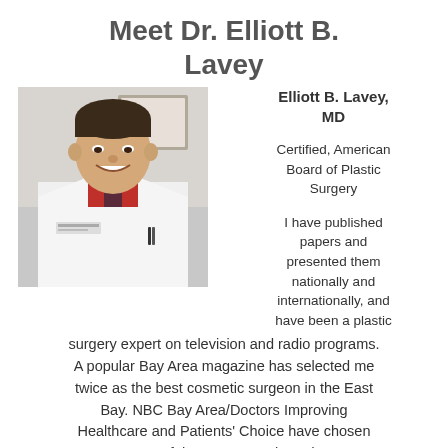Meet Dr. Elliott B. Lavey
[Figure (photo): Professional photo of Dr. Elliott B. Lavey in a white doctor's coat, smiling, with a red shirt and tie underneath]
Elliott B. Lavey, MD
Certified, American Board of Plastic Surgery
I have published papers and presented them nationally and internationally, and have been a plastic surgery expert on television and radio programs. A popular Bay Area magazine has selected me twice as the best cosmetic surgeon in the East Bay. NBC Bay Area/Doctors Improving Healthcare and Patients' Choice have chosen me as one of the Bay Area's best doctors.